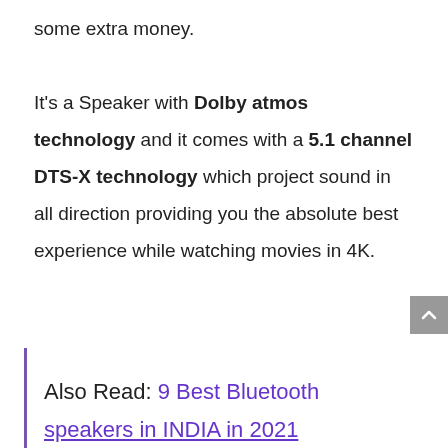some extra money.

It's a Speaker with Dolby atmos technology and it comes with a 5.1 channel DTS-X technology which project sound in all direction providing you the absolute best experience while watching movies in 4K.
Also Read: 9 Best Bluetooth speakers in INDIA in 2021